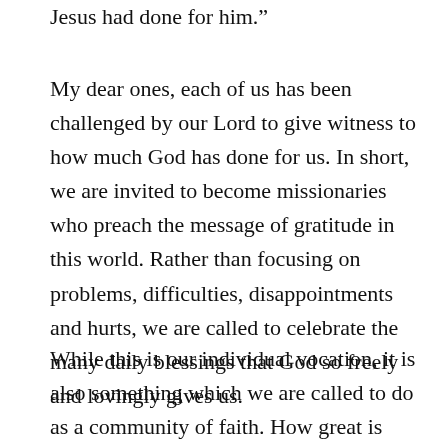Jesus had done for him."
My dear ones, each of us has been challenged by our Lord to give witness to how much God has done for us. In short, we are invited to become missionaries who preach the message of gratitude in this world. Rather than focusing on problems, difficulties, disappointments and hurts, we are called to celebrate the many daily blessings that God so freely and lovingly gives us.
While this is our individual vocation, it is also something which we are called to do as a community of faith. How great is God’s love for us! What incredible mercies and gifts we receive. May we never take them for granted! May we ever fail to give